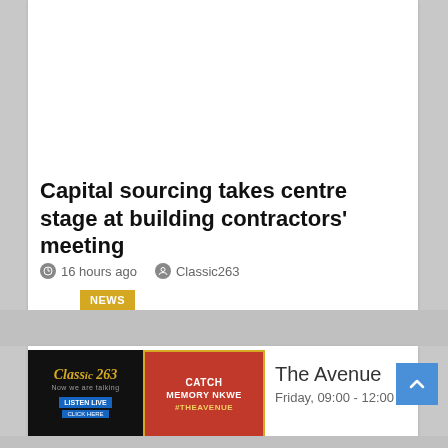NEWS
Capital sourcing takes centre stage at building contractors' meeting
16 hours ago   Classic263
[Figure (screenshot): Classic263 radio station logo with headphones and 'LISTEN LIVE CLICK HERE' button]
[Figure (photo): Show promo image: 'CATCH MEMORY NKWE #THEAVENUE' on red background]
The Avenue
Friday, 09:00 - 12:00